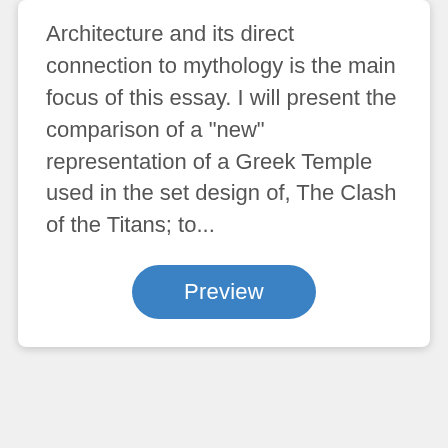Architecture and its direct connection to mythology is the main focus of this essay. I will present the comparison of a "new" representation of a Greek Temple used in the set design of, The Clash of the Titans; to...
[Figure (other): A rounded blue button labeled 'Preview']